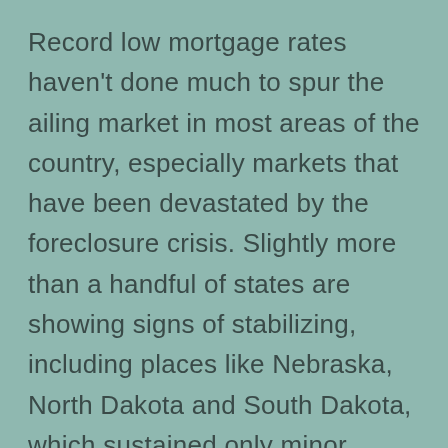Record low mortgage rates haven't done much to spur the ailing market in most areas of the country, especially markets that have been devastated by the foreclosure crisis. Slightly more than a handful of states are showing signs of stabilizing, including places like Nebraska, North Dakota and South Dakota, which sustained only minor fallout from the housing downturn. The rate of a fixed rate conventional 30-year mortgage fell to an average of 4.42% last week, according to Freddie Mac.